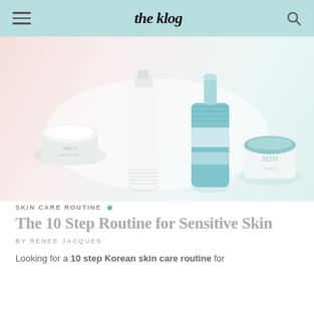the klog
[Figure (photo): Overhead flat-lay photo of Korean skincare products on a soft pink and white gradient background: a round white cream jar, a tall white bottle dispenser, a blue ribbed serum bottle with dropper, and a mint-lidded cream jar labeled 'zero'.]
SKIN CARE ROUTINE
The 10 Step Routine for Sensitive Skin
BY RENEE JACQUES
Looking for a 10 step Korean skin care routine for